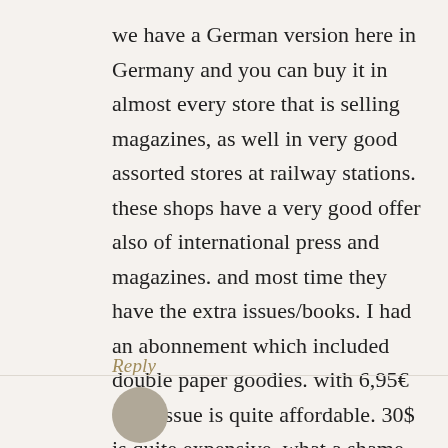we have a German version here in Germany and you can buy it in almost every store that is selling magazines, as well in very good assorted stores at railway stations. these shops have a very good offer also of international press and magazines. and most time they have the extra issues/books. I had an abonnement which included double paper goodies. with 6,95€ each issue is quite affordable. 30$ is quite expensive, what a shame.
Reply